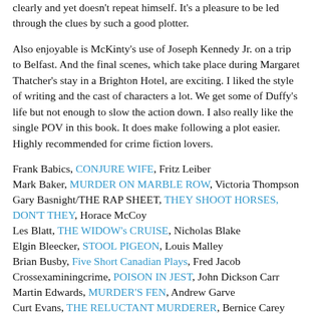clearly and yet doesn't repeat himself. It's a pleasure to be led through the clues by such a good plotter.
Also enjoyable is McKinty's use of Joseph Kennedy Jr. on a trip to Belfast. And the final scenes, which take place during Margaret Thatcher's stay in a Brighton Hotel, are exciting. I liked the style of writing and the cast of characters a lot. We get some of Duffy's life but not enough to slow the action down. I also really like the single POV in this book. It does make following a plot easier. Highly recommended for crime fiction lovers.
Frank Babics, CONJURE WIFE, Fritz Leiber
Mark Baker, MURDER ON MARBLE ROW, Victoria Thompson
Gary Basnight/THE RAP SHEET, THEY SHOOT HORSES, DON'T THEY, Horace McCoy
Les Blatt, THE WIDOW's CRUISE, Nicholas Blake
Elgin Bleecker, STOOL PIGEON, Louis Malley
Brian Busby, Five Short Canadian Plays, Fred Jacob
Crossexaminingcrime, POISON IN JEST, John Dickson Carr
Martin Edwards, MURDER'S FEN, Andrew Garve
Curt Evans, THE RELUCTANT MURDERER, Bernice Carey